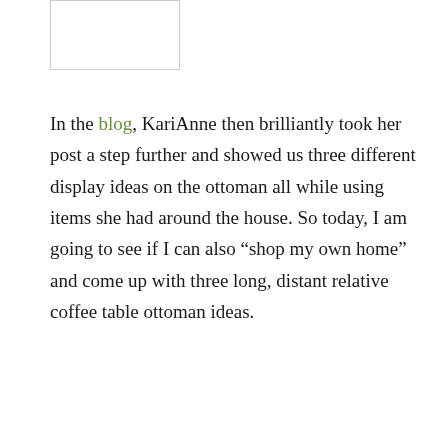[Figure (other): Partial image placeholder rectangle visible at top of page]
In the blog, KariAnne then brilliantly took her post a step further and showed us three different display ideas on the ottoman all while using items she had around the house. So today, I am going to see if I can also “shop my own home” and come up with three long, distant relative coffee table ottoman ideas.